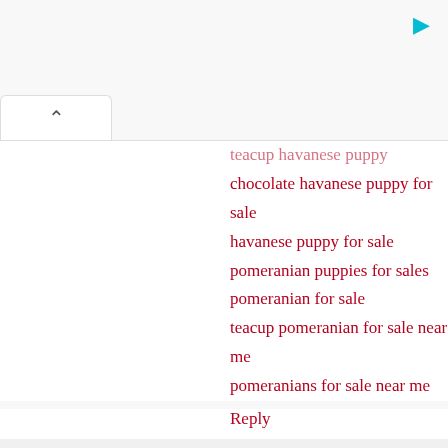teacup havanese puppy (faded/truncated)
chocolate havanese puppy for sale
havanese puppy for sale
pomeranian puppies for sales
pomeranian for sale
teacup pomeranian for sale near me
pomeranians for sale near me
Reply
https://thegorgeousragdolls.com/ 9 February 202...
https://www.redemptionbullies.com/
https://thegorgeousdoodles.com/
https://www.fluffyhavanese.com/
https://thegorgeousragdolls.com/
https://www.pomeranianpuppiesforsales.com/
Reply